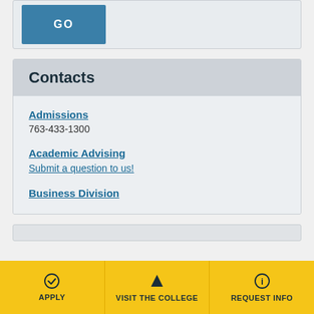GO
Contacts
Admissions
763-433-1300
Academic Advising
Submit a question to us!
Business Division
APPLY | VISIT THE COLLEGE | REQUEST INFO